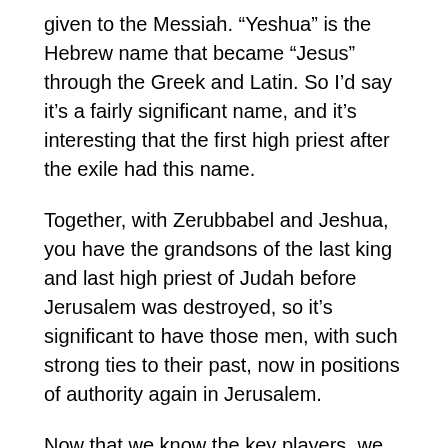given to the Messiah. “Yeshua” is the Hebrew name that became “Jesus” through the Greek and Latin. So I’d say it’s a fairly significant name, and it’s interesting that the first high priest after the exile had this name.
Together, with Zerubbabel and Jeshua, you have the grandsons of the last king and last high priest of Judah before Jerusalem was destroyed, so it’s significant to have those men, with such strong ties to their past, now in positions of authority again in Jerusalem.
Now that we know the key players, we enter chapter 3. This chapter gives us the details of what these leaders did, and what the people did, once they arrived in Jerusalem. Remember,